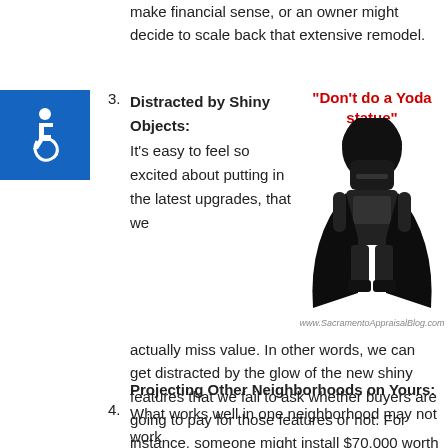make financial sense, or an owner might decide to scale back that extensive remodel.
[Figure (illustration): Blue accessibility icon (wheelchair symbol) in a blue square, and a Darth Vader LEGO minifigure with a red bold quote 'Don't do a Yoda statue' and watermark www.SacramentoAppraisalBlog.com]
3. Distracted by Shiny Objects: It's easy to feel so excited about putting in the latest upgrades, that we actually miss value. In other words, we can get distracted by the glow of the new shiny features that we fail to ask whether buyers are going to pay for those features or not. For instance, someone might install $70,000 worth of energy-efficient features, but will buyers pay for that in the resale market?
4. Projecting Other Neighborhoods on Yours: What works well in one neighborhood may not work